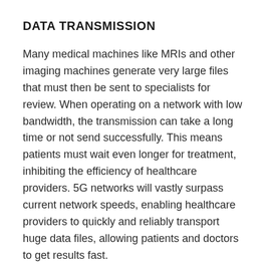DATA TRANSMISSION
Many medical machines like MRIs and other imaging machines generate very large files that must then be sent to specialists for review. When operating on a network with low bandwidth, the transmission can take a long time or not send successfully. This means patients must wait even longer for treatment, inhibiting the efficiency of healthcare providers. 5G networks will vastly surpass current network speeds, enabling healthcare providers to quickly and reliably transport huge data files, allowing patients and doctors to get results fast.
EXPANDING TELEMEDICINE